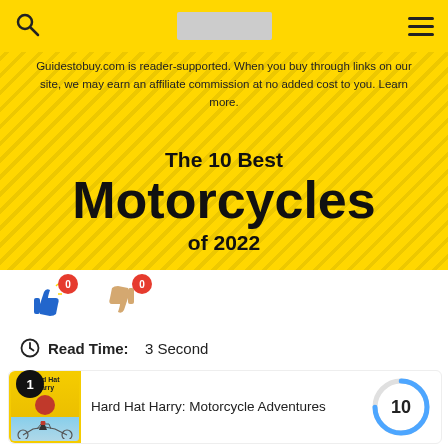Guidestobuy.com navigation header with search, logo, and menu
Guidestobuy.com is reader-supported. When you buy through links on our site, we may earn an affiliate commission at no added cost to you. Learn more.
The 10 Best Motorcycles of 2022
[Figure (infographic): Thumbs up and thumbs down vote buttons each showing 0 votes]
Read Time: 3 Second
[Figure (other): Product listing card #1 for Hard Hat Harry: Motorcycle Adventures with donut score chart showing 10]
Hard Hat Harry: Motorcycle Adventures